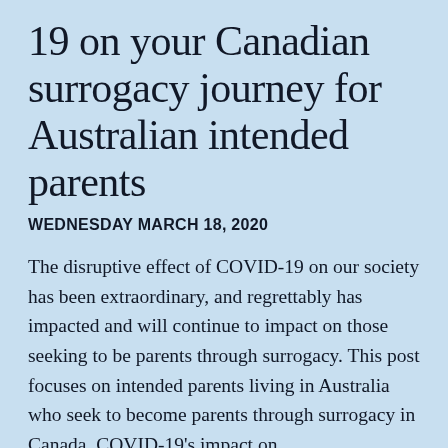The impact of COVID-19 on your Canadian surrogacy journey for Australian intended parents
WEDNESDAY MARCH 18, 2020
The disruptive effect of COVID-19 on our society has been extraordinary, and regrettably has impacted and will continue to impact on those seeking to be parents through surrogacy. This post focuses on intended parents living in Australia who seek to become parents through surrogacy in Canada. COVID-19's impact on